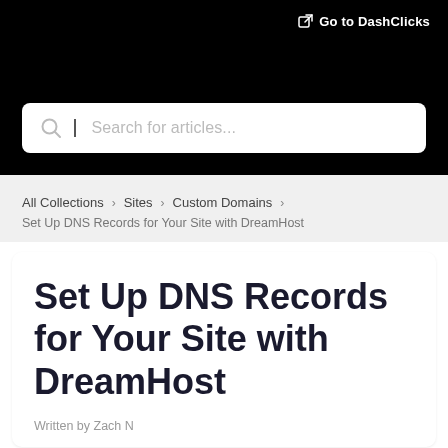Go to DashClicks
[Figure (screenshot): Search bar with placeholder text 'Search for articles...' on black header background]
All Collections > Sites > Custom Domains
Set Up DNS Records for Your Site with DreamHost
Set Up DNS Records for Your Site with DreamHost
Written by Zach N